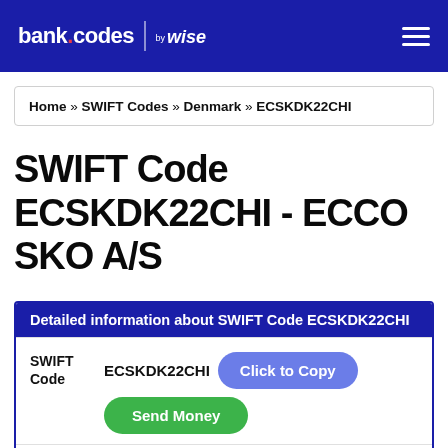bank.codes | by wise
Home » SWIFT Codes » Denmark » ECSKDK22CHI
SWIFT Code ECSKDK22CHI - ECCO SKO A/S
Detailed information about SWIFT Code ECSKDK22CHI
|  |  |
| --- | --- |
| SWIFT Code | ECSKDK22CHI  Click to Copy  Send Money |
| Money |  |